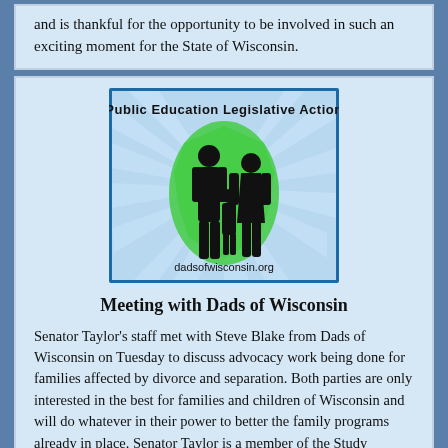and is thankful for the opportunity to be involved in such an exciting moment for the State of Wisconsin.
[Figure (logo): Dads of Wisconsin logo — Public Education Legislative Action, showing a silhouette of a family (father, mother, two children) with the shape of Wisconsin in green behind them, with rays of light in the background. Text reads dadsofwisconsin.org]
Meeting with Dads of Wisconsin
Senator Taylor's staff met with Steve Blake from Dads of Wisconsin on Tuesday to discuss advocacy work being done for families affected by divorce and separation. Both parties are only interested in the best for families and children of Wisconsin and will do whatever in their power to better the family programs already in place. Senator Taylor is a member of the Study Committee on Child Placement and Support and